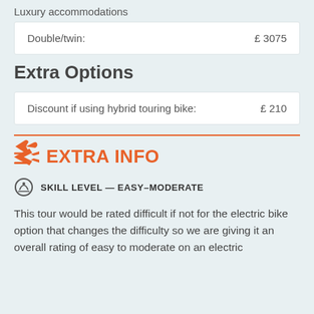Luxury accommodations
| Double/twin: | £ 3075 |
Extra Options
| Discount if using hybrid touring bike: | £ 210 |
EXTRA INFO
SKILL LEVEL — EASY–MODERATE
This tour would be rated difficult if not for the electric bike option that changes the difficulty so we are giving it an overall rating of easy to moderate on an electric